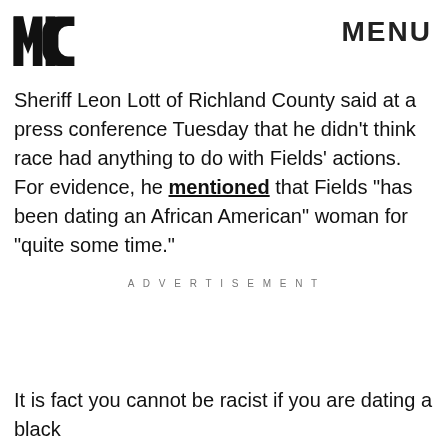MIC | MENU
Sheriff Leon Lott of Richland County said at a press conference Tuesday that he didn't think race had anything to do with Fields' actions. For evidence, he mentioned that Fields "has been dating an African American" woman for "quite some time."
ADVERTISEMENT
It is fact you cannot be racist if you are dating a black